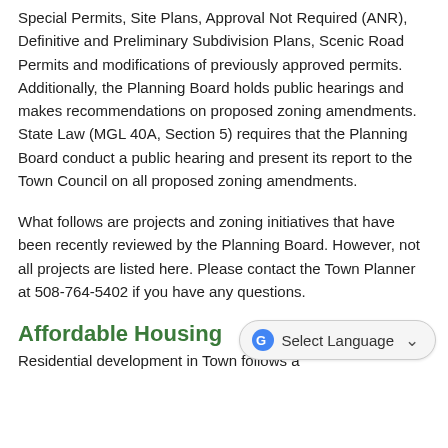Special Permits, Site Plans, Approval Not Required (ANR), Definitive and Preliminary Subdivision Plans, Scenic Road Permits and modifications of previously approved permits. Additionally, the Planning Board holds public hearings and makes recommendations on proposed zoning amendments. State Law (MGL 40A, Section 5) requires that the Planning Board conduct a public hearing and present its report to the Town Council on all proposed zoning amendments.
What follows are projects and zoning initiatives that have been recently reviewed by the Planning Board. However, not all projects are listed here. Please contact the Town Planner at 508-764-5402 if you have any questions.
Affordable Housing
Residential development in Town follows a